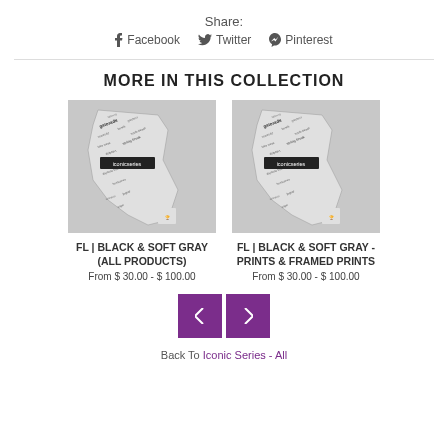Share:
f Facebook  Twitter  Pinterest
MORE IN THIS COLLECTION
[Figure (photo): FL Black & Soft Gray word map image - iconic series]
FL | BLACK & SOFT GRAY (ALL PRODUCTS)
From $ 30.00 - $ 100.00
[Figure (photo): FL Black & Soft Gray - Prints & Framed Prints word map image - iconic series]
FL | BLACK & SOFT GRAY - PRINTS & FRAMED PRINTS
From $ 30.00 - $ 100.00
Back To Iconic Series - All